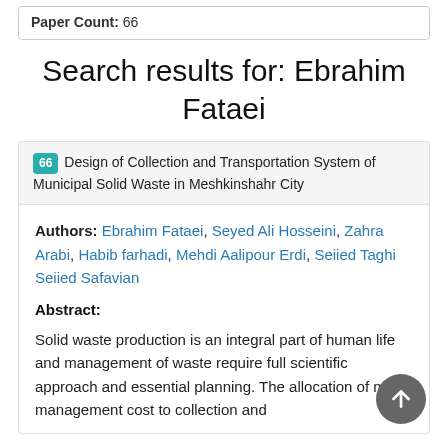Paper Count: 66
Search results for: Ebrahim Fataei
66 Design of Collection and Transportation System of Municipal Solid Waste in Meshkinshahr City
Authors: Ebrahim Fataei, Seyed Ali Hosseini, Zahra Arabi, Habib farhadi, Mehdi Aalipour Erdi, Seiied Taghi Seiied Safavian
Abstract:
Solid waste production is an integral part of human life and management of waste require full scientific approach and essential planning. The allocation of most management cost to collection and